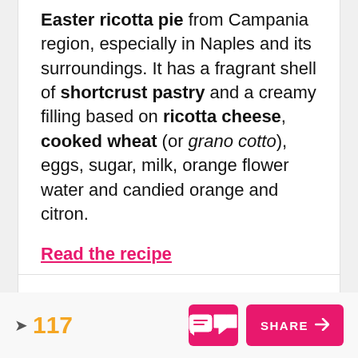Easter ricotta pie from Campania region, especially in Naples and its surroundings. It has a fragrant shell of shortcrust pastry and a creamy filling based on ricotta cheese, cooked wheat (or grano cotto), eggs, sugar, milk, orange flower water and candied orange and citron.
Read the recipe
117  SHARE